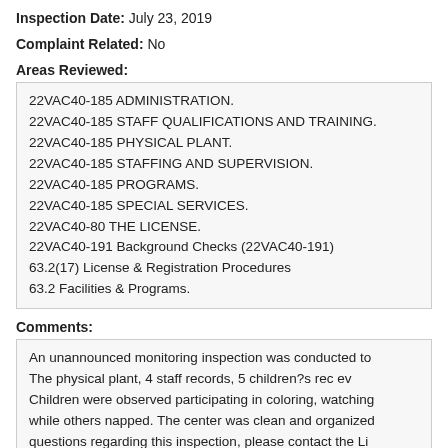Inspection Date: July 23, 2019
Complaint Related: No
Areas Reviewed:
22VAC40-185 ADMINISTRATION.
22VAC40-185 STAFF QUALIFICATIONS AND TRAINING.
22VAC40-185 PHYSICAL PLANT.
22VAC40-185 STAFFING AND SUPERVISION.
22VAC40-185 PROGRAMS.
22VAC40-185 SPECIAL SERVICES.
22VAC40-80 THE LICENSE.
22VAC40-191 Background Checks (22VAC40-191)
63.2(17) License & Registration Procedures
63.2 Facilities & Programs.
Comments:
An unannounced monitoring inspection was conducted to The physical plant, 4 staff records, 5 children?s rec ev Children were observed participating in coloring, watching while others napped. The center was clean and organized questions regarding this inspection, please contact the Li
Violations: